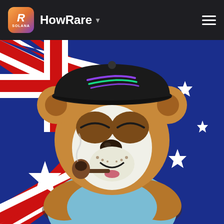HowRare
[Figure (illustration): NFT illustration of a cartoon panda/bear character wearing a black Solana-branded baseball cap and a light blue tank top, arms crossed, holding a smoking pipe. The background is an Australian flag with blue field, Union Jack in upper left corner, and white stars including the Southern Cross and Commonwealth Star.]